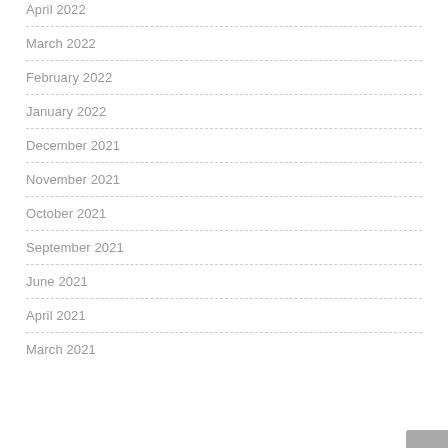April 2022
March 2022
February 2022
January 2022
December 2021
November 2021
October 2021
September 2021
June 2021
April 2021
March 2021